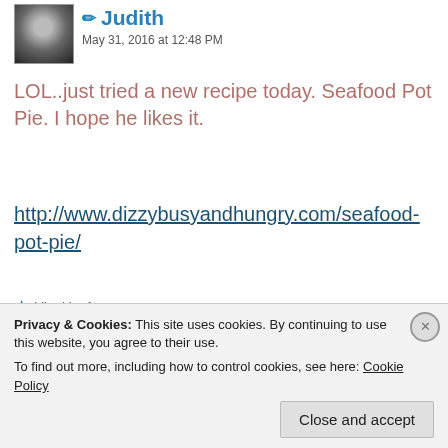[Figure (photo): Avatar photo of user Judith, black and white portrait]
✏ Judith
May 31, 2016 at 12:48 PM
LOL..just tried a new recipe today. Seafood Pot Pie. I hope he likes it.
http://www.dizzybusyandhungry.com/seafood-pot-pie/
★ Liked by 1 person
[Figure (photo): Avatar photo of user dawnmarie, brown/dark colored image]
dawnmarie
Privacy & Cookies: This site uses cookies. By continuing to use this website, you agree to their use.
To find out more, including how to control cookies, see here: Cookie Policy
Close and accept